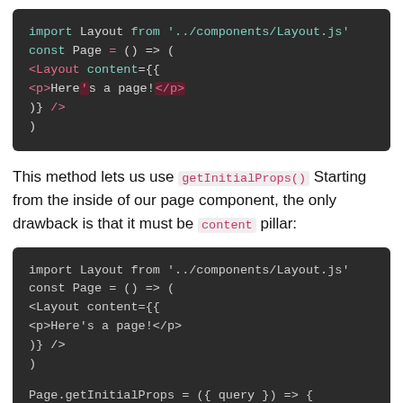[Figure (screenshot): Code block showing: import Layout from '../components/Layout.js', const Page = () => (, <Layout content={{, <p>Here's a page!</p>, )} />, )]
This method lets us use getInitialProps() Starting from the inside of our page component, the only drawback is that it must be content pillar:
[Figure (screenshot): Code block showing: import Layout from '../components/Layout.js', const Page = () => (, <Layout content={{, <p>Here's a page!</p>, )} />, ), Page.getInitialProps = ({ query }) => {]